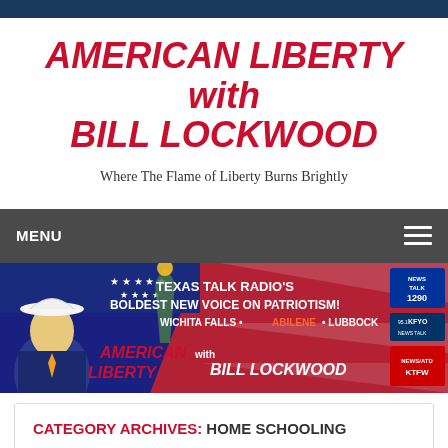AMERICAN LIBERTY with BILL LOCKWOOD
Where The Flame of Liberty Burns Brightly
MENU
[Figure (infographic): Radio show promotional banner: Texas Talk Radio's Boldest New Voice on Patriotism! Wichita Falls · Abilene · Lubbock. American Liberty with Bill Lockwood. News Talk 1290, KFYO, KTFW logos shown. Man in cowboy hat with Statue of Liberty on American flag background.]
CATEGORY ARCHIVES: HOME SCHOOLING